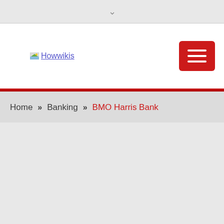▾
[Figure (logo): Howwikis logo with small image icon and underlined blue text]
[Figure (other): Red hamburger menu button with three white horizontal lines]
Home » Banking » BMO Harris Bank